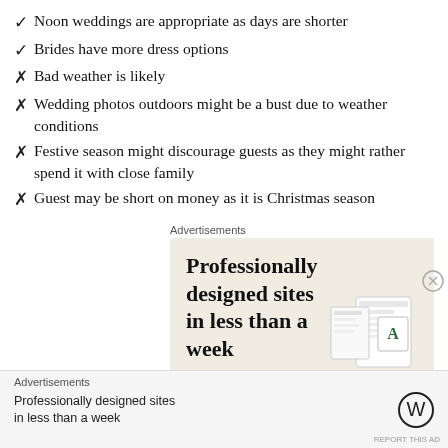✓ Noon weddings are appropriate as days are shorter
✓ Brides have more dress options
✗ Bad weather is likely
✗ Wedding photos outdoors might be a bust due to weather conditions
✗ Festive season might discourage guests as they might rather spend it with close family
✗ Guest may be short on money as it is Christmas season
Advertisements
[Figure (other): Advertisement: Professionally designed sites in less than a week, with green button and website design mockup images]
Advertisements
Professionally designed sites in less than a week